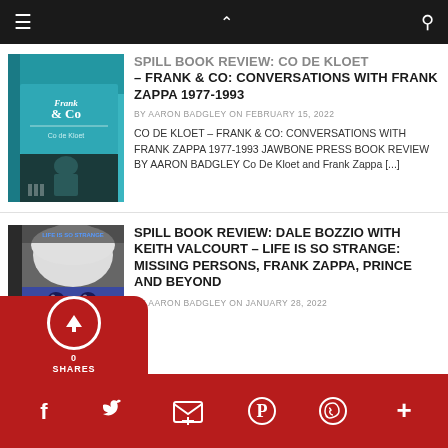Navigation bar with hamburger menu, chevron up, and search icon
SPILL BOOK REVIEW: CO DE KLOET – FRANK & CO: CONVERSATIONS WITH FRANK ZAPPA 1977-1993
BY AARON BADGLEY ON FEBRUARY 15, 2022
CO DE KLOET – FRANK & CO: CONVERSATIONS WITH FRANK ZAPPA 1977-1993 JAWBONE PRESS BOOK REVIEW BY AARON BADGLEY Co De Kloet and Frank Zappa [...]
SPILL BOOK REVIEW: DALE BOZZIO WITH KEITH VALCOURT – LIFE IS SO STRANGE: MISSING PERSONS, FRANK ZAPPA, PRINCE AND BEYOND
BY AARON BADGLEY ON JANUARY 28, 2022
0 SHARES — social share icons: Facebook, Twitter, Email, Pinterest, WhatsApp, More